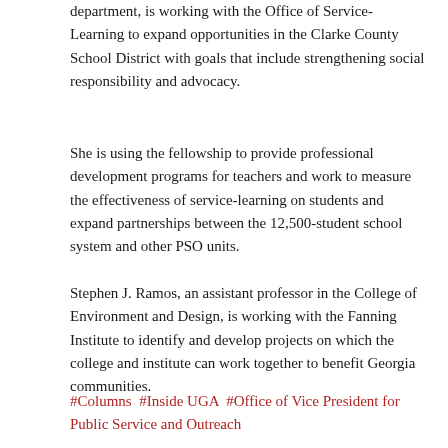department, is working with the Office of Service-Learning to expand opportunities in the Clarke County School District with goals that include strengthening social responsibility and advocacy.
She is using the fellowship to provide professional development programs for teachers and work to measure the effectiveness of service-learning on students and expand partnerships between the 12,500-student school system and other PSO units.
Stephen J. Ramos, an assistant professor in the College of Environment and Design, is working with the Fanning Institute to identify and develop projects on which the college and institute can work together to benefit Georgia communities.
#Columns  #Inside UGA  #Office of Vice President for Public Service and Outreach